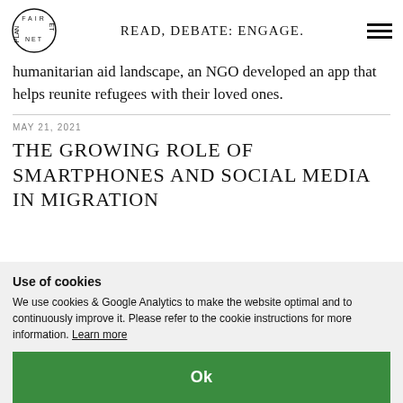READ, DEBATE: ENGAGE.
humanitarian aid landscape, an NGO developed an app that helps reunite refugees with their loved ones.
MAY 21, 2021
THE GROWING ROLE OF SMARTPHONES AND SOCIAL MEDIA IN MIGRATION
Use of cookies
We use cookies & Google Analytics to make the website optimal and to continuously improve it. Please refer to the cookie instructions for more information. Learn more
Ok